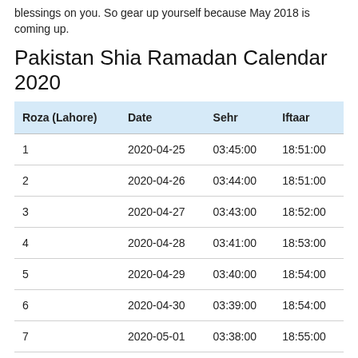blessings on you. So gear up yourself because May 2018 is coming up.
Pakistan Shia Ramadan Calendar 2020
| Roza (Lahore) | Date | Sehr | Iftaar |
| --- | --- | --- | --- |
| 1 | 2020-04-25 | 03:45:00 | 18:51:00 |
| 2 | 2020-04-26 | 03:44:00 | 18:51:00 |
| 3 | 2020-04-27 | 03:43:00 | 18:52:00 |
| 4 | 2020-04-28 | 03:41:00 | 18:53:00 |
| 5 | 2020-04-29 | 03:40:00 | 18:54:00 |
| 6 | 2020-04-30 | 03:39:00 | 18:54:00 |
| 7 | 2020-05-01 | 03:38:00 | 18:55:00 |
| 8 | 2020-05-02 | 03:37:00 | 18:56:00 |